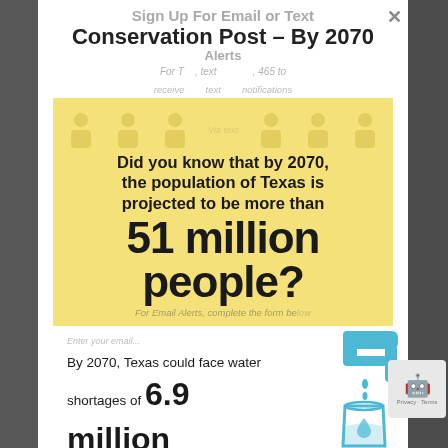Conservation Post – By 2070
[Figure (infographic): Texas Water infographic: Did you know that by 2070, the population of Texas is projected to be more than 51 million people? By 2070, Texas could face water shortages of 6.9 million acre-feet in a severe drought (that's 2.2 trillion gallons of water). Find out more info at TexasStateWaterPlan. Texas Water Development Board logo. Data from the 2022 State Water Plan.]
Find out more info at TexasStateWaterPlan.
Data from the 2022 State Water Plan | Texas Water Development Board